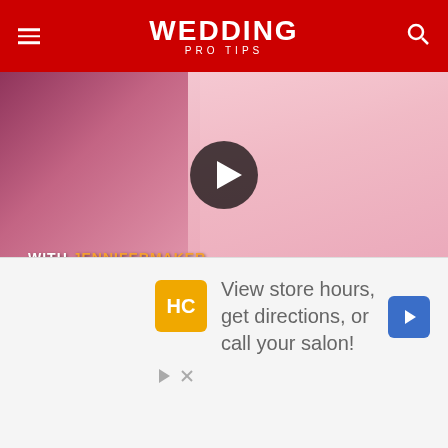WEDDING PRO TIPS
[Figure (photo): Video thumbnail showing a woman in a white apron holding pink laser-cut wedding invitations, with a play button overlay and 'WITH JENNIFERMAKER' text at the bottom]
Use the text tool to create the text overlay.
A few things to keep in mind when you are done creating the text, make sure everything is attached and set the Fill = Print. I select black as the color for text but you can do any color or pattern fill.
Do not forget to select all the text and Flatten. If you do not do this
[Figure (screenshot): Advertisement banner: HC logo, 'View store hours, get directions, or call your salon!' text with navigation arrow icon]